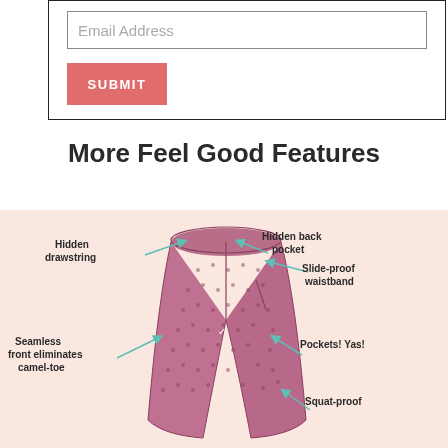[Figure (screenshot): Email address input field with a border and placeholder text 'Email Address', and a salmon/coral SUBMIT button below it, all inside a bordered form box.]
More Feel Good Features
[Figure (illustration): Illustrated diagram of yoga leggings on a pink background with callout labels: Hidden drawstring, Hidden back pocket, Slide-proof waistband, Seamless front eliminates camel-toe, Pockets! Yas!, Squat-proof. Arrows in teal/mint point to each feature on the garment.]